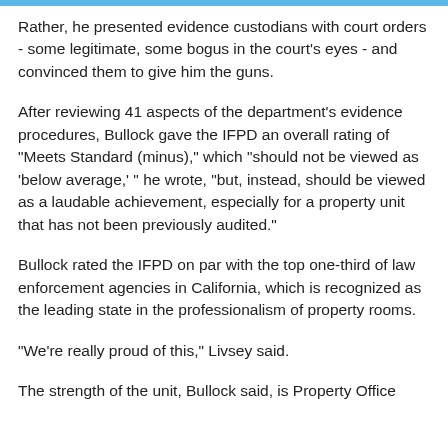Rather, he presented evidence custodians with court orders - some legitimate, some bogus in the court's eyes - and convinced them to give him the guns.
After reviewing 41 aspects of the department's evidence procedures, Bullock gave the IFPD an overall rating of "Meets Standard (minus)," which "should not be viewed as 'below average,' " he wrote, "but, instead, should be viewed as a laudable achievement, especially for a property unit that has not been previously audited."
Bullock rated the IFPD on par with the top one-third of law enforcement agencies in California, which is recognized as the leading state in the professionalism of property rooms.
"We're really proud of this," Livsey said.
The strength of the unit, Bullock said, is Property Office